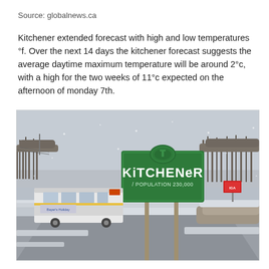Source: globalnews.ca
Kitchener extended forecast with high and low temperatures °f. Over the next 14 days the kitchener forecast suggests the average daytime maximum temperature will be around 2°c, with a high for the two weeks of 11°c expected on the afternoon of monday 7th.
[Figure (photo): A snowy winter scene showing a city bus driving on a snow-covered road past a green Kitchener city welcome sign that reads KITCHENER POPULATION 230,000, with bare trees and overcast sky in the background.]